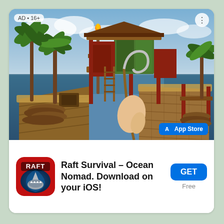[Figure (screenshot): Advertisement screenshot for 'Raft Survival – Ocean Nomad' mobile game showing a 3D first-person view of a wooden raft on the ocean with palm trees, a multi-level wooden structure with red and green walls, and a hand holding a hook. Badge shows 'AD • 16+' in top-left and 'App Store' button in bottom-right.]
[Figure (logo): Raft Survival game app icon: red background with a shark underwater and 'RAFT' text]
Raft Survival – Ocean Nomad. Download on your iOS!
GET
Free